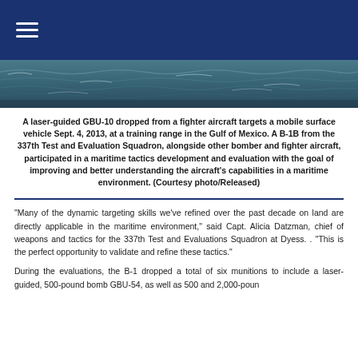[Figure (photo): Navigation bar with hamburger menu icon on dark navy blue background]
[Figure (photo): Ocean/sea surface aerial photo used as hero image banner]
A laser-guided GBU-10 dropped from a fighter aircraft targets a mobile surface vehicle Sept. 4, 2013, at a training range in the Gulf of Mexico. A B-1B from the 337th Test and Evaluation Squadron, alongside other bomber and fighter aircraft, participated in a maritime tactics development and evaluation with the goal of improving and better understanding the aircraft's capabilities in a maritime environment. (Courtesy photo/Released)
"Many of the dynamic targeting skills we've refined over the past decade on land are directly applicable in the maritime environment," said Capt. Alicia Datzman, chief of weapons and tactics for the 337th Test and Evaluations Squadron at Dyess. . "This is the perfect opportunity to validate and refine these tactics."
During the evaluations, the B-1 dropped a total of six munitions to include a laser-guided, 500-pound bomb GBU-54, as well as 500 and 2,000-poun